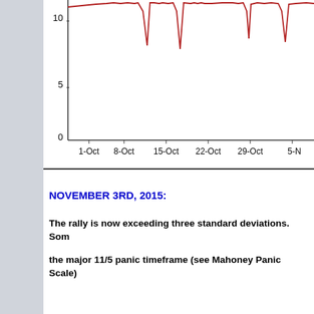[Figure (continuous-plot): Partial line chart showing spike/dip pattern with y-axis labels 0, 5, 10 and x-axis labels 1-Oct, 8-Oct, 15-Oct, 22-Oct, 29-Oct, 5-N. Dark red/crimson line with sharp downward spikes. An annotation text block overlaps the chart reading: 'If stock market panics are not random events, exhibit tendencies to repeat in a cyclical mann... commonalities and the strength of its cyclical... cyclical relationships to previous panics are m...']
NOVEMBER 3RD, 2015:
The rally is now exceeding three standard deviations.  Som
the major 11/5 panic timeframe (see Mahoney Panic Scale)